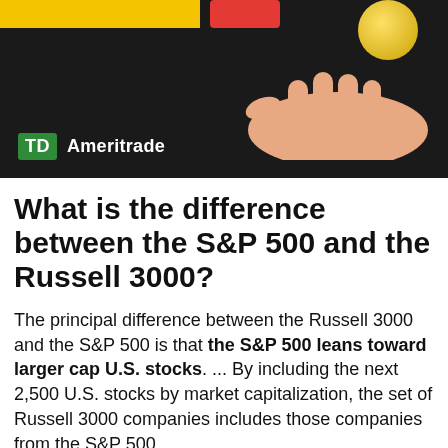[Figure (illustration): TD Ameritrade thumbnail image with dark background, yellow bar, red button, gold coin, and illustrated hand on right. TD Ameritrade logo at bottom left.]
What is the difference between the S&P 500 and the Russell 3000?
The principal difference between the Russell 3000 and the S&P 500 is that the S&P 500 leans toward larger cap U.S. stocks. ... By including the next 2,500 U.S. stocks by market capitalization, the set of Russell 3000 companies includes those companies from the S&P 500.
Is The Russell 3000